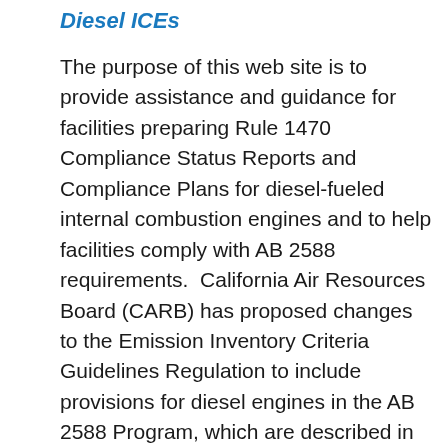Diesel ICEs
The purpose of this web site is to provide assistance and guidance for facilities preparing Rule 1470 Compliance Status Reports and Compliance Plans for diesel-fueled internal combustion engines and to help facilities comply with AB 2588 requirements.  California Air Resources Board (CARB) has proposed changes to the Emission Inventory Criteria Guidelines Regulation to include provisions for diesel engines in the AB 2588 Program, which are described in order to assist facilities in making decisions that will work for both Rule 1470 and AB 2588.  The information presented in this web site regarding AB 2588 requirements for diesel engines is subject to final approval of CARB's proposed rule amendments.  Upon final approval,